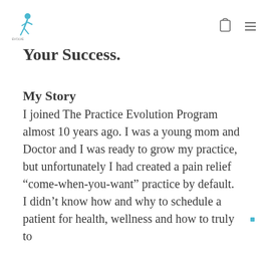[Logo: Practice Evolution] [cart icon] [menu icon]
Your Success.
My Story
I joined The Practice Evolution Program almost 10 years ago. I was a young mom and Doctor and I was ready to grow my practice, but unfortunately I had created a pain relief “come-when-you-want” practice by default.
I didn’t know how and why to schedule a patient for health, wellness and how to truly to